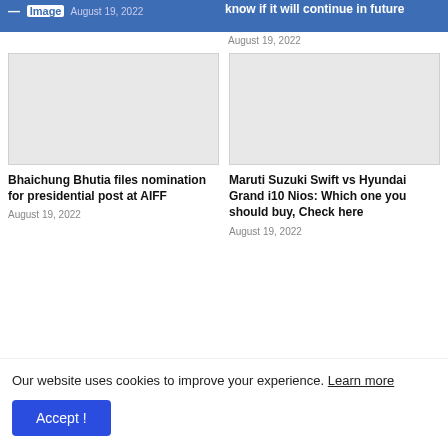Image | August 19, 2022 | know if it will continue in future | August 19, 2022
[Figure (photo): Blank/placeholder image for article about Bhaichung Bhutia]
Bhaichung Bhutia files nomination for presidential post at AIFF
August 19, 2022
[Figure (photo): Blank/placeholder image for article about Maruti Suzuki Swift vs Hyundai Grand i10 Nios]
Maruti Suzuki Swift vs Hyundai Grand i10 Nios: Which one you should buy, Check here
August 19, 2022
Our website uses cookies to improve your experience. Learn more
Accept !